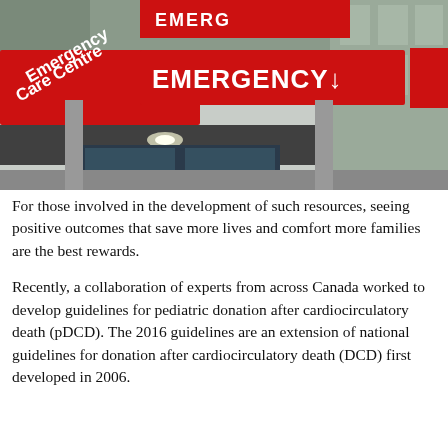[Figure (photo): Exterior photo of a hospital Emergency Care Centre entrance with large red signs reading 'Emergency Care Centre' and 'EMERGENCY' with a downward arrow.]
For those involved in the development of such resources, seeing positive outcomes that save more lives and comfort more families are the best rewards.
Recently, a collaboration of experts from across Canada worked to develop guidelines for pediatric donation after cardiocirculatory death (pDCD). The 2016 guidelines are an extension of national guidelines for donation after cardiocirculatory death (DCD) first developed in 2006.